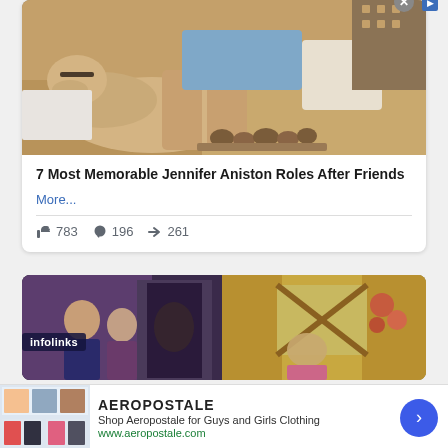[Figure (photo): A yellow Labrador dog resting on a couch next to a person wearing blue shirt and shorts, with decorative items on a table nearby]
7 Most Memorable Jennifer Aniston Roles After Friends
More...
783  196  261
[Figure (screenshot): Screenshot of a TV show scene with characters in a living room]
infolinks
AEROPOSTALE
Shop Aeropostale for Guys and Girls Clothing
www.aeropostale.com